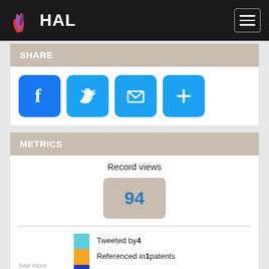HAL
SHARE
[Figure (infographic): Social share buttons: Facebook, Twitter, Email, More (+)]
METRICS
Record views
94
Tweeted by 4
Referenced in 1 patents
On 1 Facebook pages
56 readers on Mendeley
4 readers on CiteULike
See more details